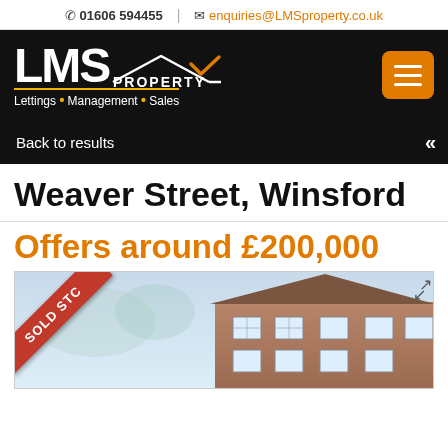☎ 01606 594455 | ✉ enquiries@LMSproperty.co.uk
[Figure (logo): LMS Property logo with roof outline and orange checkmark. Tagline: Lettings · Management · Sales]
Back to results
Weaver Street, Winsford
Offers around £200,000
[Figure (photo): Property exterior photo showing a row of terraced brick houses with a red 'SOLD STC' banner in the top-left corner]